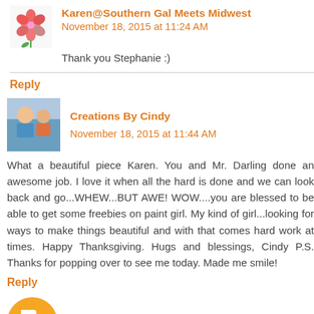Karen@SouthernGalMeetsMidwest
November 18, 2015 at 11:24 AM
Thank you Stephanie :)
Reply
Creations By Cindy  November 18, 2015 at 11:44 AM
What a beautiful piece Karen. You and Mr. Darling done an awesome job. I love it when all the hard is done and we can look back and go...WHEW...BUT AWE! WOW....you are blessed to be able to get some freebies on paint girl. My kind of girl...looking for ways to make things beautiful and with that comes hard work at times. Happy Thanksgiving. Hugs and blessings, Cindy P.S. Thanks for popping over to see me today. Made me smile!
Reply
Celestina Marie  November 20, 2015 at 6:39 AM
Hi Karen, what a treasure and now it has a new life and